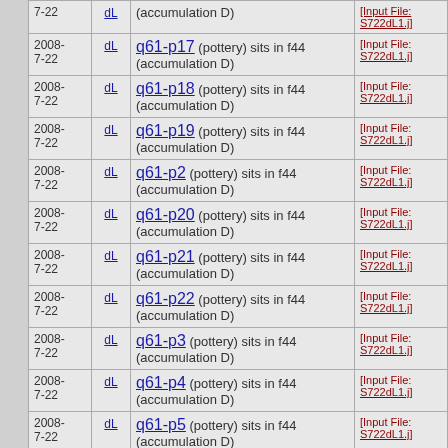| Date | dL | Description | Input File |
| --- | --- | --- | --- |
| 7-22 | dL | (accumulation D) | [Input File: S722dL1.j] |
| 2008-7-22 | dL | q61-p17 (pottery) sits in f44 (accumulation D) | [Input File: S722dL1.j] |
| 2008-7-22 | dL | q61-p18 (pottery) sits in f44 (accumulation D) | [Input File: S722dL1.j] |
| 2008-7-22 | dL | q61-p19 (pottery) sits in f44 (accumulation D) | [Input File: S722dL1.j] |
| 2008-7-22 | dL | q61-p2 (pottery) sits in f44 (accumulation D) | [Input File: S722dL1.j] |
| 2008-7-22 | dL | q61-p20 (pottery) sits in f44 (accumulation D) | [Input File: S722dL1.j] |
| 2008-7-22 | dL | q61-p21 (pottery) sits in f44 (accumulation D) | [Input File: S722dL1.j] |
| 2008-7-22 | dL | q61-p22 (pottery) sits in f44 (accumulation D) | [Input File: S722dL1.j] |
| 2008-7-22 | dL | q61-p3 (pottery) sits in f44 (accumulation D) | [Input File: S722dL1.j] |
| 2008-7-22 | dL | q61-p4 (pottery) sits in f44 (accumulation D) | [Input File: S722dL1.j] |
| 2008-7-22 | dL | q61-p5 (pottery) sits in f44 (accumulation D) | [Input File: S722dL1.j] |
| 2008-7-22 | dL | q61-p6 (pottery) sits in f44 | [Input File: S722dL1.j] |